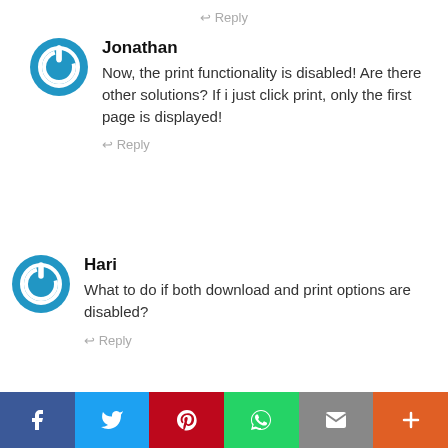Reply
[Figure (illustration): Blue circular power button avatar icon for Jonathan]
Jonathan
Now, the print functionality is disabled! Are there other solutions? If i just click print, only the first page is displayed!
Reply
[Figure (illustration): Blue circular power button avatar icon for Hari]
Hari
What to do if both download and print options are disabled?
Reply
[Figure (infographic): Social sharing bar with Facebook, Twitter, Pinterest, WhatsApp, Email, and More buttons]